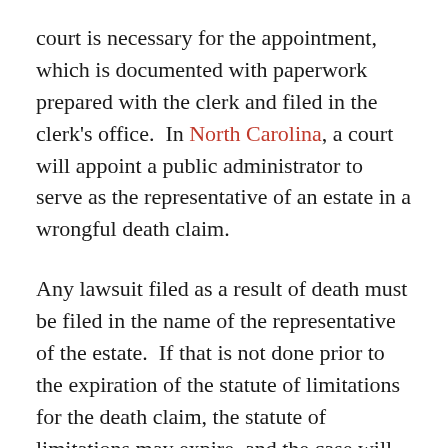court is necessary for the appointment, which is documented with paperwork prepared with the clerk and filed in the clerk's office.  In North Carolina, a court will appoint a public administrator to serve as the representative of an estate in a wrongful death claim.
Any lawsuit filed as a result of death must be filed in the name of the representative of the estate.  If that is not done prior to the expiration of the statute of limitations for the death claim, the statute of limitations may expire, and the case will not be able to be preserved.
The role of a personal representative is important in